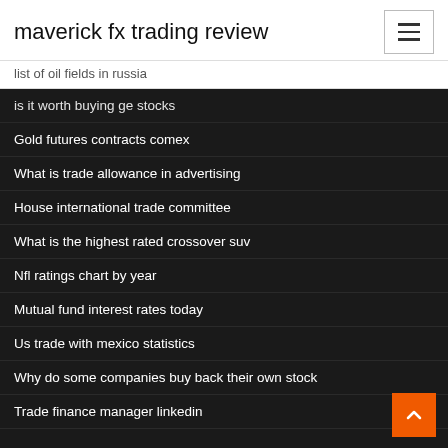maverick fx trading review
list of oil fields in russia
is it worth buying ge stocks
Gold futures contracts comex
What is trade allowance in advertising
House international trade committee
What is the highest rated crossover suv
Nfl ratings chart by year
Mutual fund interest rates today
Us trade with mexico statistics
Why do some companies buy back their own stock
Trade finance manager linkedin